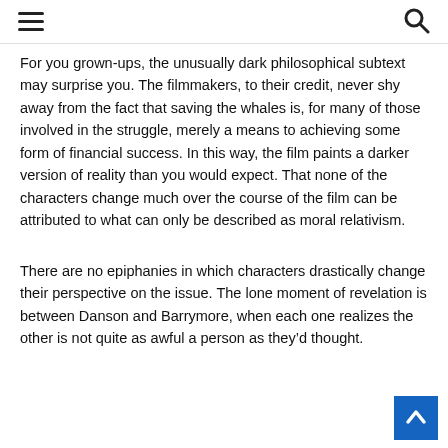[hamburger menu] [search icon]
For you grown-ups, the unusually dark philosophical subtext may surprise you. The filmmakers, to their credit, never shy away from the fact that saving the whales is, for many of those involved in the struggle, merely a means to achieving some form of financial success. In this way, the film paints a darker version of reality than you would expect. That none of the characters change much over the course of the film can be attributed to what can only be described as moral relativism.
There are no epiphanies in which characters drastically change their perspective on the issue. The lone moment of revelation is between Danson and Barrymore, when each one realizes the other is not quite as awful a person as they’d thought.